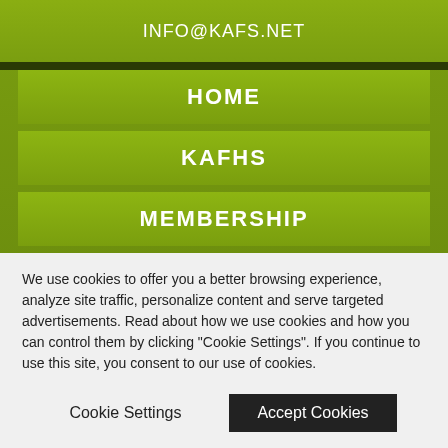INFO@KAFS.NET
HOME
KAFHS
MEMBERSHIP
FAIRS & SHOWS
PAGEANTS
MEETINGS
RESOURCES
We use cookies to offer you a better browsing experience, analyze site traffic, personalize content and serve targeted advertisements. Read about how we use cookies and how you can control them by clicking "Cookie Settings". If you continue to use this site, you consent to our use of cookies.
Cookie Settings
Accept Cookies